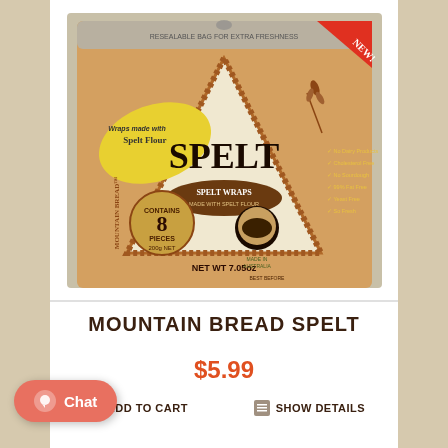[Figure (photo): Product photo of Mountain Bread Spelt wraps package. The triangular-shaped bag is orange/brown with text 'SPELT' in large letters, 'Spelt Wraps made with Spelt Flour', contains 8 pieces 200g, Net Wt 7.05oz. Has 'NEW!' banner in top-right corner and a resealable bag label at top. Lists benefits: No Dairy Products, Cholesterol Free, No Sourdough, 99% Fat Free, Yeast Free, So Fresh.]
MOUNTAIN BREAD SPELT
$5.99
ADD TO CART
SHOW DETAILS
Chat